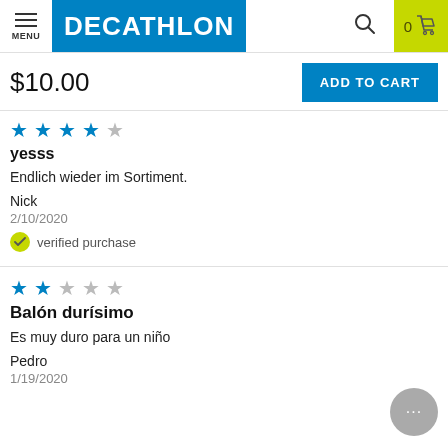MENU | DECATHLON | 0 cart
$10.00
ADD TO CART
[Figure (other): 4 out of 5 stars rating (blue stars)]
yesss
Endlich wieder im Sortiment.
Nick
2/10/2020
verified purchase
[Figure (other): 2 out of 5 stars rating (blue stars)]
Balón durísimo
Es muy duro para un niño
Pedro
1/19/2020